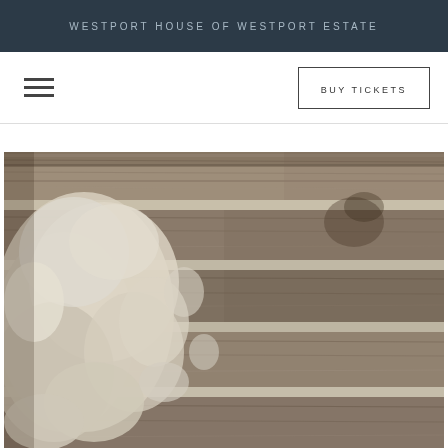WESTPORT HOUSE OF WESTPORT ESTATE
[Figure (illustration): Hamburger menu icon (three horizontal lines)]
[Figure (other): Buy Tickets button with rectangular border]
[Figure (photo): Close-up photograph of deteriorating wooden beams or planks with white plaster or mortar crumbling between them, showing signs of age and decay]